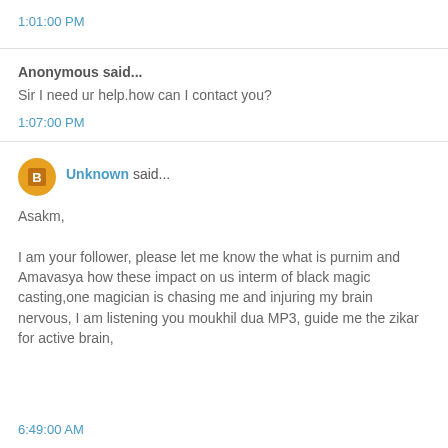1:01:00 PM
Anonymous said...
Sir I need ur help.how can I contact you?
1:07:00 PM
Unknown said...
Asakm,

I am your follower, please let me know the what is purnim and Amavasya how these impact on us interm of black magic casting,one magician is chasing me and injuring my brain nervous, I am listening you moukhil dua MP3, guide me the zikar for active brain,
6:49:00 AM